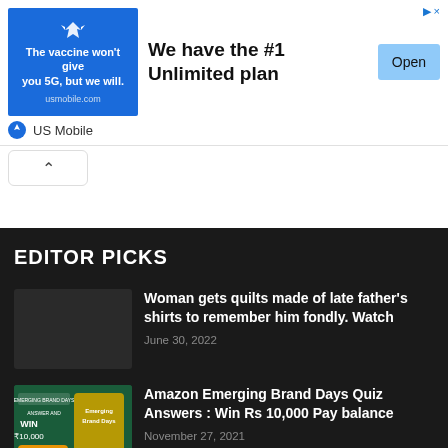[Figure (screenshot): Advertisement banner for US Mobile. Blue image on left says 'The vaccine won't give you 5G, but we will. usmobile.com'. Text reads 'We have the #1 Unlimited plan'. Blue 'Open' button on right. US Mobile brand label below.]
EDITOR PICKS
Woman gets quilts made of late father's shirts to remember him fondly. Watch
June 30, 2022
[Figure (photo): Thumbnail image for Amazon Emerging Brand Days Quiz]
Amazon Emerging Brand Days Quiz Answers : Win Rs 10,000 Pay balance
November 27, 2021